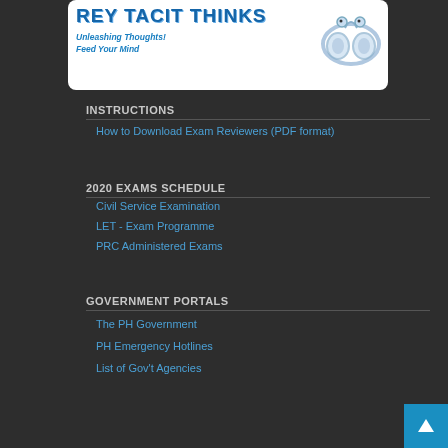[Figure (logo): Website logo with blue stylized text title, tagline 'Unleashing Thoughts! Feed Your Mind' and infinity dragon symbol]
INSTRUCTIONS
How to Download Exam Reviewers (PDF format)
2020 EXAMS SCHEDULE
Civil Service Examination
LET - Exam Programme
PRC Administered Exams
GOVERNMENT PORTALS
The PH Government
PH Emergency Hotlines
List of Gov't Agencies